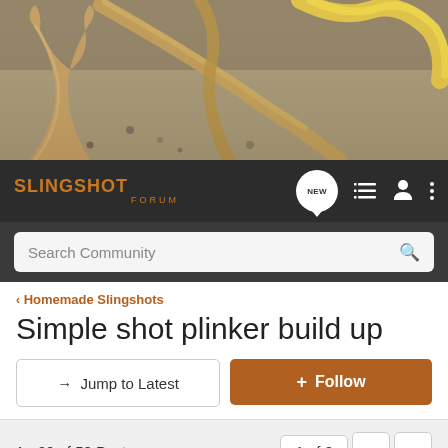[Figure (photo): Hero image showing slingshot forks/branches (light wood Y-shapes) and what appears to be yellow rubber bands or tubing arranged on a sandy/concrete surface]
SLINGSHOT FORUM
Search Community
< Homemade Slingshots
Simple shot plinker build up
→ Jump to Latest
+ Follow
1 - 20 of 58 Posts
1 of 3
31610 · Read Only